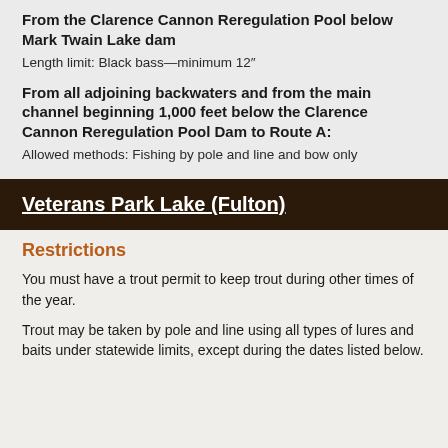From the Clarence Cannon Reregulation Pool below Mark Twain Lake dam
Length limit: Black bass—minimum 12″
From all adjoining backwaters and from the main channel beginning 1,000 feet below the Clarence Cannon Reregulation Pool Dam to Route A:
Allowed methods: Fishing by pole and line and bow only
Veterans Park Lake (Fulton)
Restrictions
You must have a trout permit to keep trout during other times of the year.
Trout may be taken by pole and line using all types of lures and baits under statewide limits, except during the dates listed below.